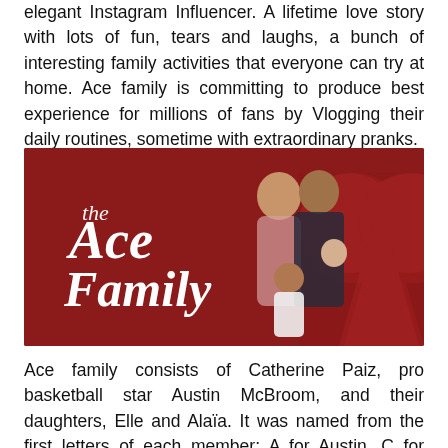elegant Instagram Influencer. A lifetime love story with lots of fun, tears and laughs, a bunch of interesting family activities that everyone can try at home. Ace family is committing to produce best experience for millions of fans by Vlogging their daily routines, sometime with extraordinary pranks.
[Figure (photo): The Ace Family promotional image on a red background with a large red spade symbol. Text reads 'The Ace Family' in white script/bold lettering. A woman, a man holding a baby, and a young girl are posed together.]
Ace family consists of Catherine Paiz, pro basketball star Austin McBroom, and their daughters, Elle and Alaïa. It was named from the first letters of each member: A for Austin, C for Catherine and E for Elle. They have been attracting and entertaining for more than 15 million subscribers since 2016. Now their vlog